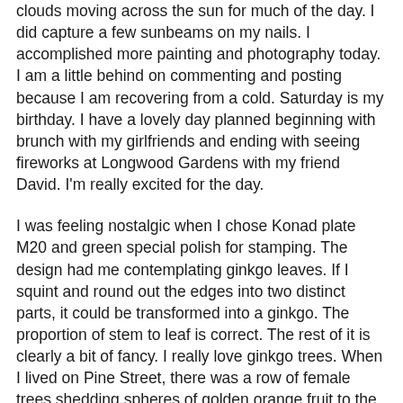clouds moving across the sun for much of the day. I did capture a few sunbeams on my nails. I accomplished more painting and photography today. I am a little behind on commenting and posting because I am recovering from a cold. Saturday is my birthday. I have a lovely day planned beginning with brunch with my girlfriends and ending with seeing fireworks at Longwood Gardens with my friend David. I'm really excited for the day.
I was feeling nostalgic when I chose Konad plate M20 and green special polish for stamping. The design had me contemplating ginkgo leaves. If I squint and round out the edges into two distinct parts, it could be transformed into a ginkgo. The proportion of stem to leaf is correct. The rest of it is clearly a bit of fancy. I really love ginkgo trees. When I lived on Pine Street, there was a row of female trees shedding spheres of golden orange fruit to the pavement. Women would come from Chinatown and sit on the sidewalk with baskets, sorting the ginkgo fruit and chatting together.  I always looked forward to walking outside and catching sight of them at harvest time. Nubar Tiger's Eye makes me think of stained wood or bark. I added some rhinestones to represent